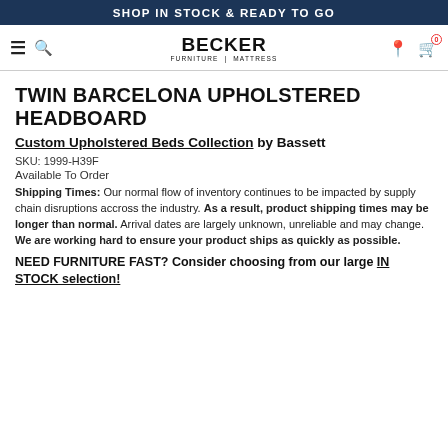SHOP IN STOCK & READY TO GO
TWIN BARCELONA UPHOLSTERED HEADBOARD
Custom Upholstered Beds Collection by Bassett
SKU: 1999-H39F
Available To Order
Shipping Times: Our normal flow of inventory continues to be impacted by supply chain disruptions accross the industry. As a result, product shipping times may be longer than normal. Arrival dates are largely unknown, unreliable and may change. We are working hard to ensure your product ships as quickly as possible.
NEED FURNITURE FAST? Consider choosing from our large IN STOCK selection!